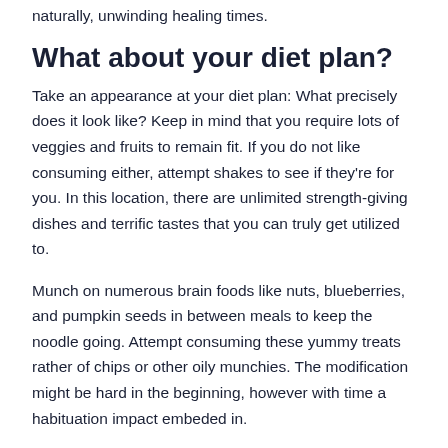naturally, unwinding healing times.
What about your diet plan?
Take an appearance at your diet plan: What precisely does it look like? Keep in mind that you require lots of veggies and fruits to remain fit. If you do not like consuming either, attempt shakes to see if they're for you. In this location, there are unlimited strength-giving dishes and terrific tastes that you can truly get utilized to.
Munch on numerous brain foods like nuts, blueberries, and pumpkin seeds in between meals to keep the noodle going. Attempt consuming these yummy treats rather of chips or other oily munchies. The modification might be hard in the beginning, however with time a habituation impact embeded in.
Offer range